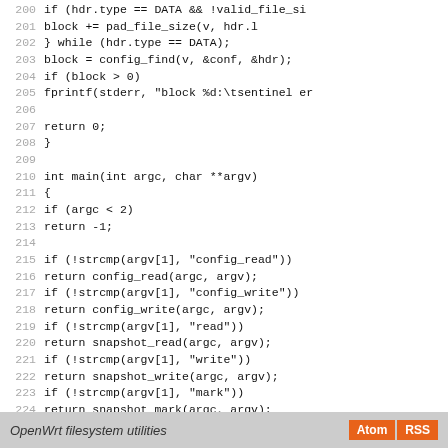Code listing lines 200-228: C source code for OpenWrt filesystem utilities main function and config/snapshot dispatch logic
OpenWrt filesystem utilities  Atom  RSS